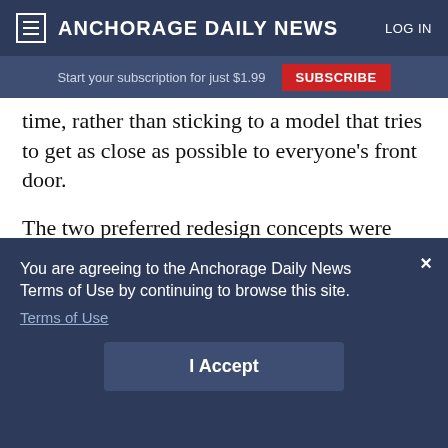≡ ANCHORAGE DAILY NEWS   LOG IN
Start your subscription for just $1.99  SUBSCRIBE
time, rather than sticking to a model that tries to get as close as possible to everyone's front door.
The two preferred redesign concepts were released in early November. The first round of public meetings and open houses were on Nov. 19
You are agreeing to the Anchorage Daily News Terms of Use by continuing to browse this site.
Terms of Use
I Accept